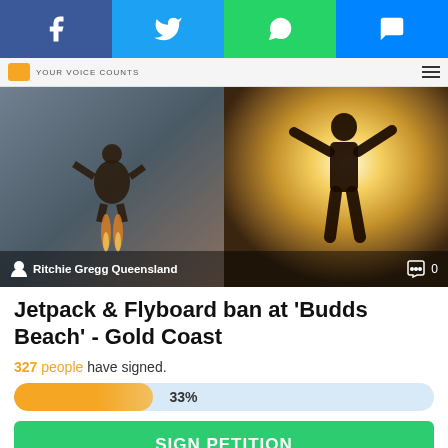[Figure (screenshot): Social media share bar with Facebook, Twitter, WhatsApp, and Messenger buttons]
YOUR VOICE COUNTS
[Figure (photo): Two side-by-side images: left shows a person using a jetpack in the sky, right shows a silhouette of a person with arms raised in front of a bright glowing background. Author: Ritchie Gregg Queensland. Comments: 0]
Jetpack & Flyboard ban at 'Budds Beach' - Gold Coast
327 people have signed.
[Figure (infographic): Progress bar showing 33% completion]
SIGN PETITION